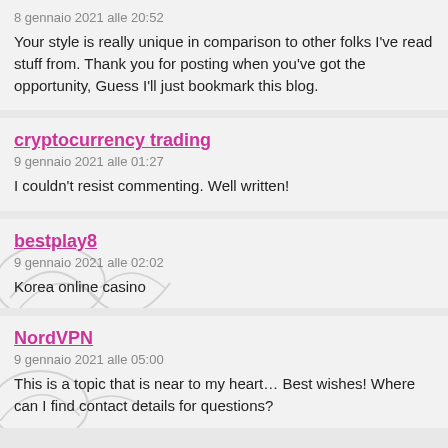8 gennaio 2021 alle 20:52
Your style is really unique in comparison to other folks I've read stuff from. Thank you for posting when you've got the opportunity, Guess I'll just bookmark this blog.
cryptocurrency trading
9 gennaio 2021 alle 01:27
I couldn't resist commenting. Well written!
bestplay8
9 gennaio 2021 alle 02:02
Korea online casino
NordVPN
9 gennaio 2021 alle 05:00
This is a topic that is near to my heart… Best wishes! Where can I find contact details for questions?